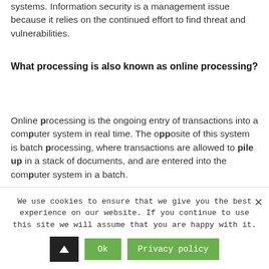systems. Information security is a management issue because it relies on the continued effort to find threat and vulnerabilities.
What processing is also known as online processing?
Online processing is the ongoing entry of transactions into a computer system in real time. The opposite of this system is batch processing, where transactions are allowed to pile up in a stack of documents, and are entered into the computer system in a batch.
We use cookies to ensure that we give you the best experience on our website. If you continue to use this site we will assume that you are happy with it.